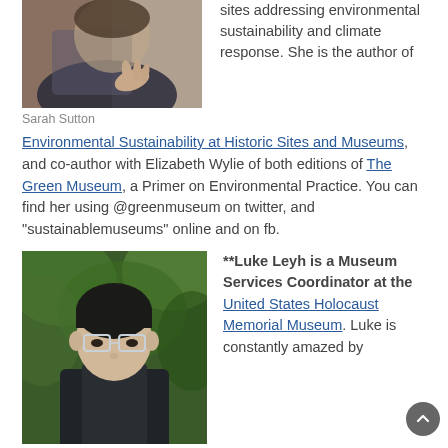[Figure (photo): Photo of Sarah Sutton, a woman gesturing with her hand]
Sarah Sutton
sites addressing environmental sustainability and climate response. She is the author of Environmental Sustainability at Historic Sites and Museums, and co-author with Elizabeth Wylie of both editions of The Green Museum, a Primer on Environmental Practice. You can find her using @greenmuseum on twitter, and “sustainablemusems” online and on fb.
[Figure (photo): Photo of Luke Leyh, a man wearing glasses and a dark jacket, outdoors with greenery behind]
**Luke Leyh is a Museum Services Coordinator at the United States Holocaust Memorial Museum. Luke is constantly amazed by